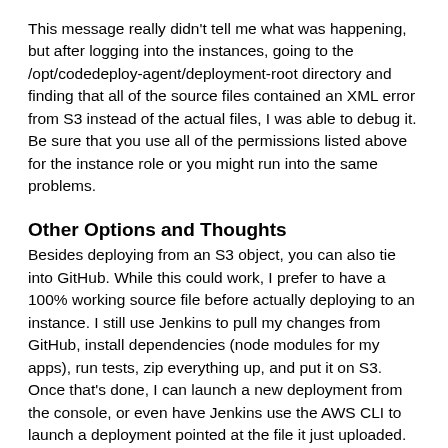This message really didn't tell me what was happening, but after logging into the instances, going to the /opt/codedeploy-agent/deployment-root directory and finding that all of the source files contained an XML error from S3 instead of the actual files, I was able to debug it. Be sure that you use all of the permissions listed above for the instance role or you might run into the same problems.
Other Options and Thoughts
Besides deploying from an S3 object, you can also tie into GitHub. While this could work, I prefer to have a 100% working source file before actually deploying to an instance. I still use Jenkins to pull my changes from GitHub, install dependencies (node modules for my apps), run tests, zip everything up, and put it on S3. Once that's done, I can launch a new deployment from the console, or even have Jenkins use the AWS CLI to launch a deployment pointed at the file it just uploaded. While I could certainly install node modules as part of the pre-install hooks on the instance itself, that is much more error prone and slower as well.